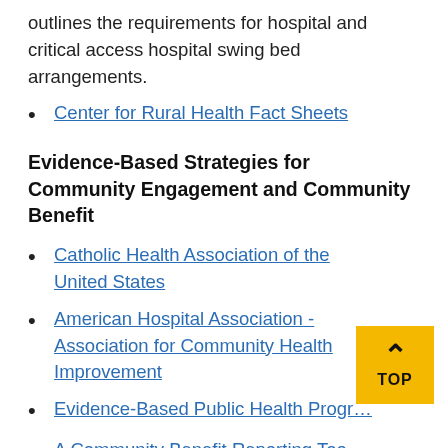outlines the requirements for hospital and critical access hospital swing bed arrangements.
Center for Rural Health Fact Sheets
Evidence-Based Strategies for Community Engagement and Community Benefit
Catholic Health Association of the United States
American Hospital Association - Association for Community Health Improvement
Evidence-Based Public Health Progr…
A Community Benefit Reporting Too… for Critical Access Hospitals
A toolkit designed to provide guidance to administrators and staff of Critical